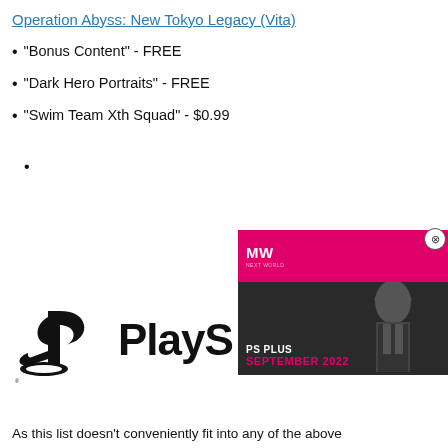Operation Abyss: New Tokyo Legacy (Vita)
"Bonus Content" - FREE
"Dark Hero Portraits" - FREE
"Swim Team Xth Squad" - $0.99
[Figure (logo): PlayStation logo with PS symbol and 'PlayS' text visible (partially obscured by video overlay)]
[Figure (screenshot): Video overlay thumbnail showing PS Plus September 2022 content with a character in a suit with a dog/wolf head mask, on a pink/magenta and dark background, with a play button and MW logo.]
As this list doesn't conveniently fit into any of the above